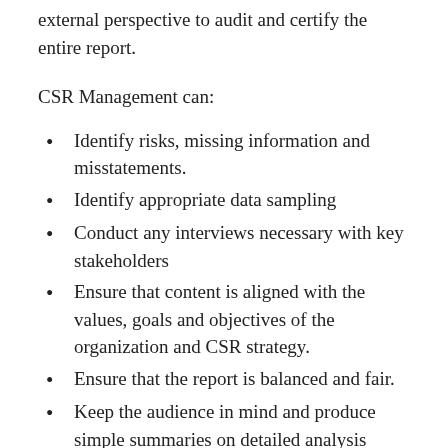external perspective to audit and certify the entire report.
CSR Management can:
Identify risks, missing information and misstatements.
Identify appropriate data sampling
Conduct any interviews necessary with key stakeholders
Ensure that content is aligned with the values, goals and objectives of the organization and CSR strategy.
Ensure that the report is balanced and fair.
Keep the audience in mind and produce simple summaries on detailed analysis